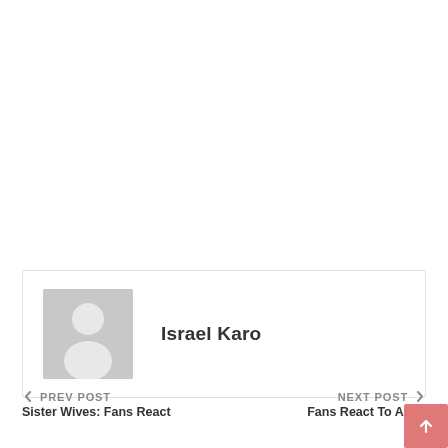[Figure (other): Author profile box with placeholder avatar (grey silhouette) and name 'Israel Karo']
Israel Karo
← PREV POST
Sister Wives: Fans React
NEXT POST →
Fans React To Anna